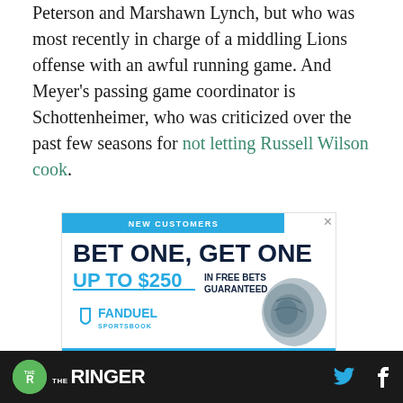Peterson and Marshawn Lynch, but who was most recently in charge of a middling Lions offense with an awful running game. And Meyer's passing game coordinator is Schottenheimer, who was criticized over the past few seasons for not letting Russell Wilson cook.
[Figure (other): FanDuel Sportsbook advertisement: 'New Customers — Bet One, Get One — Up to $250 in Free Bets Guaranteed' with FanDuel Sportsbook logo and baseball glove image]
The Ringer